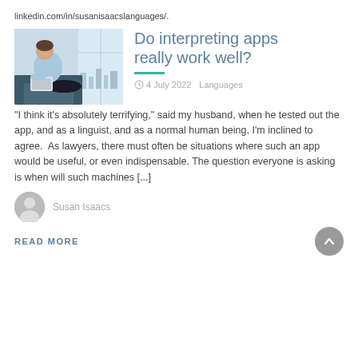linkedin.com/in/susanisaacslanguages/.
[Figure (photo): Man in light blue shirt sitting on a dark couch with a laptop, large window background with city view]
Do interpreting apps really work well?
4 July 2022   Languages
"I think it's absolutely terrifying," said my husband, when he tested out the app, and as a linguist, and as a normal human being, I'm inclined to agree.  As lawyers, there must often be situations where such an app would be useful, or even indispensable. The question everyone is asking is when will such machines [...]
Susan Isaacs
READ MORE